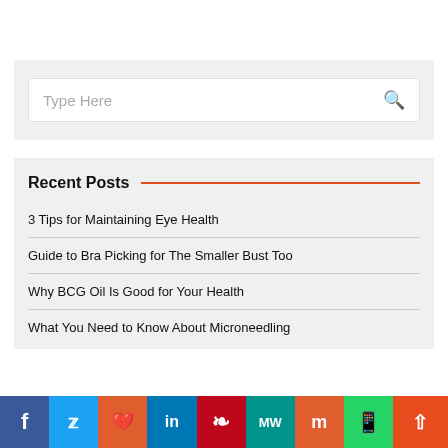Type Here
Recent Posts
3 Tips for Maintaining Eye Health
Guide to Bra Picking for The Smaller Bust Too
Why BCG Oil Is Good for Your Health
What You Need to Know About Microneedling